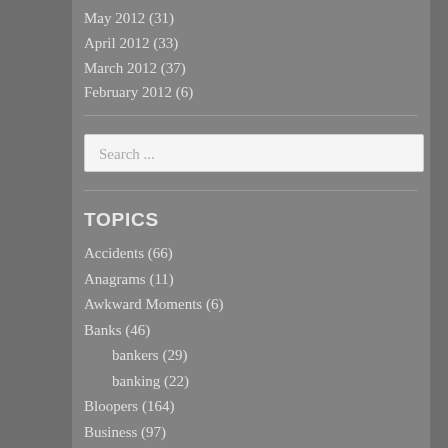May 2012 (31)
April 2012 (33)
March 2012 (37)
February 2012 (6)
Search ...
TOPICS
Accidents (66)
Anagrams (11)
Awkward Moments (6)
Banks (46)
bankers (29)
banking (22)
Bloopers (164)
Business (97)
Investing (23)
Stockmarket (8)